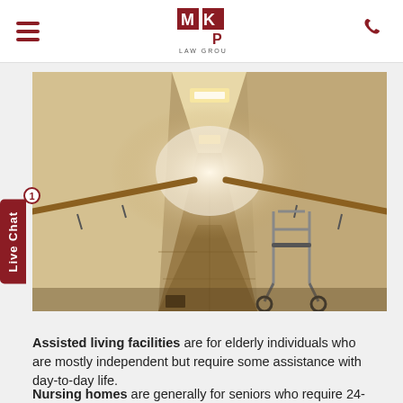MKP LAW GROUP
[Figure (photo): Long hallway of an assisted living facility with handrails on both sides, ceiling lights, tiled floor, and a walker/rollator parked on the right side near the end of the corridor.]
Assisted living facilities are for elderly individuals who are mostly independent but require some assistance with day-to-day life.
Nursing homes are generally for seniors who require 24-